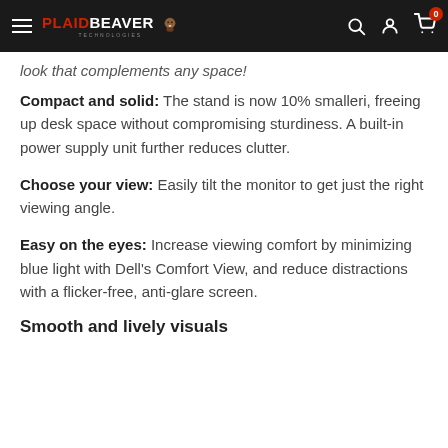PLAIDBEAVER Technologies — navigation header with search, account, and cart icons
look that complements any space!
Compact and solid: The stand is now 10% smalleri, freeing up desk space without compromising sturdiness. A built-in power supply unit further reduces clutter.
Choose your view: Easily tilt the monitor to get just the right viewing angle.
Easy on the eyes: Increase viewing comfort by minimizing blue light with Dell's Comfort View, and reduce distractions with a flicker-free, anti-glare screen.
Smooth and lively visuals